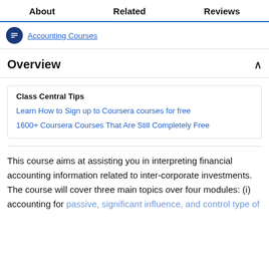About | Related | Reviews
Accounting Courses
Overview
Class Central Tips
Learn How to Sign up to Coursera courses for free
1600+ Coursera Courses That Are Still Completely Free
This course aims at assisting you in interpreting financial accounting information related to inter-corporate investments. The course will cover three main topics over four modules: (i) accounting for passive, significant influence, and control type of